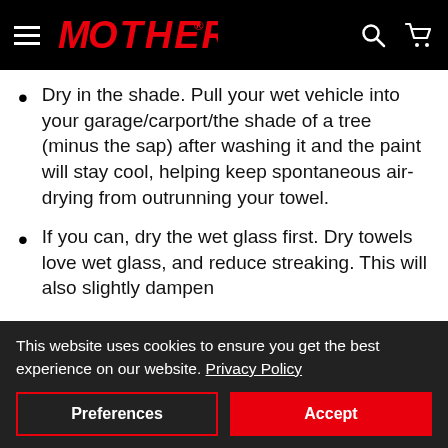MOTHERS® [navigation header]
Dry in the shade. Pull your wet vehicle into your garage/carport/the shade of a tree (minus the sap) after washing it and the paint will stay cool, helping keep spontaneous air-drying from outrunning your towel.
If you can, dry the wet glass first. Dry towels love wet glass, and reduce streaking. This will also slightly dampen
This website uses cookies to ensure you get the best experience on our website. Privacy Policy
Preferences | Accept